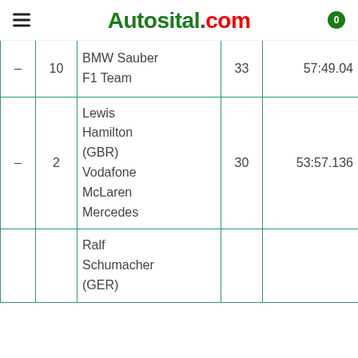Autosital.com
| Pos | No | Driver / Team | Laps | Time |
| --- | --- | --- | --- | --- |
| - | 10 | BMW Sauber F1 Team | 33 | 57:49.04... |
| - | 2 | Lewis Hamilton (GBR) Vodafone McLaren Mercedes | 30 | 53:57.136 |
| - |  | Ralf Schumacher (GER) |  |  |